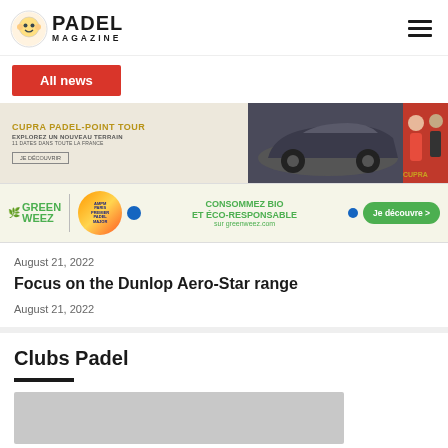[Figure (logo): Padel Magazine logo with stylized face icon and bold PADEL MAGAZINE text]
All news
[Figure (photo): Cupra Padel-Point Tour advertisement banner with car image and people]
[Figure (photo): Greenweez Paris Premier Padel Major advertisement banner with Je découvre button]
August 21, 2022
Focus on the Dunlop Aero-Star range
August 21, 2022
Clubs Padel
[Figure (photo): Gray placeholder image for Clubs Padel section]